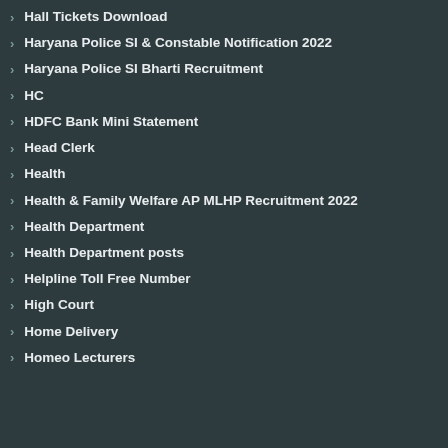Hall Tickets Download
Haryana Police SI & Constable Notification 2022
Haryana Police SI Bharti Recruitment
HC
HDFC Bank Mini Statement
Head Clerk
Health
Health & Family Welfare AP MLHP Recruitment 2022
Health Department
Health Department posts
Helpline Toll Free Number
High Court
Home Delivery
Homeo Lecturers